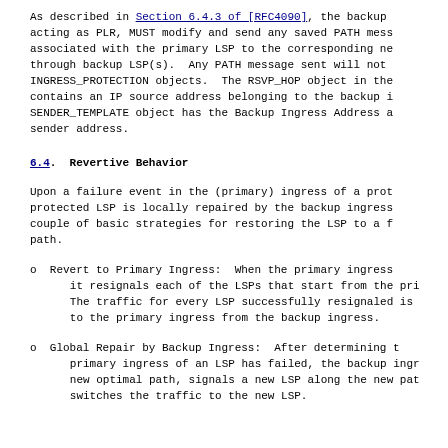As described in Section 6.4.3 of [RFC4090], the backup acting as PLR, MUST modify and send any saved PATH mess associated with the primary LSP to the corresponding ne through backup LSP(s).  Any PATH message sent will not INGRESS_PROTECTION objects.  The RSVP_HOP object in the contains an IP source address belonging to the backup i SENDER_TEMPLATE object has the Backup Ingress Address a sender address.
6.4.  Revertive Behavior
Upon a failure event in the (primary) ingress of a prot protected LSP is locally repaired by the backup ingress couple of basic strategies for restoring the LSP to a f path.
o  Revert to Primary Ingress:  When the primary ingress it resignals each of the LSPs that start from the pri The traffic for every LSP successfully resignaled is to the primary ingress from the backup ingress.
o  Global Repair by Backup Ingress:  After determining t primary ingress of an LSP has failed, the backup ingr new optimal path, signals a new LSP along the new pat switches the traffic to the new LSP.